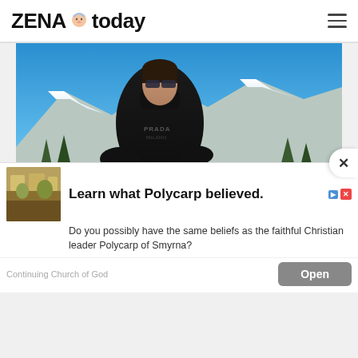ZENA today
[Figure (photo): Woman wearing black Prada turtleneck sweater and dark sunglasses, posing outdoors with snow-capped mountains in the background under a clear blue sky.]
If You Aren't The Regular Girly Girl, You Too Will Relate To This
Herbeauty
[Figure (screenshot): Advertisement: 'Learn what Polycarp believed.' with text 'Do you possibly have the same beliefs as the faithful Christian leader Polycarp of Smyrna?' Source: Continuing Church of God. With an Open button.]